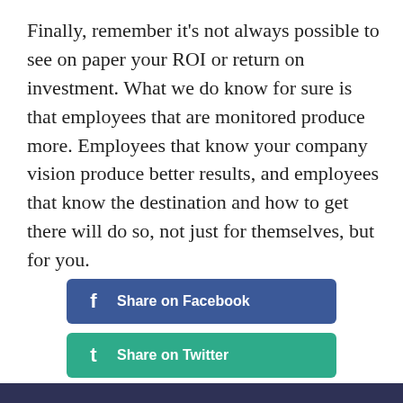Finally, remember it's not always possible to see on paper your ROI or return on investment. What we do know for sure is that employees that are monitored produce more. Employees that know your company vision produce better results, and employees that know the destination and how to get there will do so, not just for themselves, but for you.
[Figure (infographic): Three social share buttons: Share on Facebook (blue), Share on Twitter (teal/green), Share on LinkedIn (dark blue)]